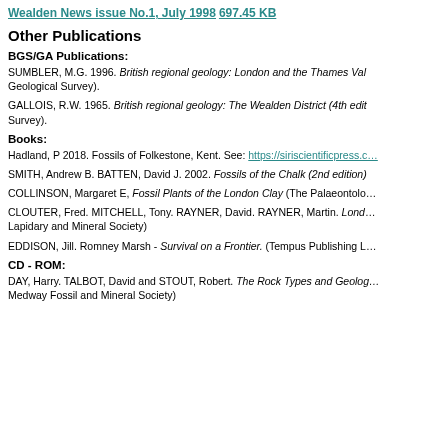Wealden News issue No.1, July 1998  697.45 KB
Other Publications
BGS/GA Publications:
SUMBLER, M.G. 1996. British regional geology: London and the Thames Val… Geological Survey).
GALLOIS, R.W. 1965. British regional geology: The Wealden District (4th edit… Survey).
Books:
Hadland, P 2018. Fossils of Folkestone, Kent. See: https://siriscientificpress.c…
SMITH, Andrew B. BATTEN, David J. 2002. Fossils of the Chalk (2nd edition)
COLLINSON, Margaret E, Fossil Plants of the London Clay (The Palaeontolo…
CLOUTER, Fred. MITCHELL, Tony. RAYNER, David. RAYNER, Martin. Londo… Lapidary and Mineral Society)
EDDISON, Jill. Romney Marsh - Survival on a Frontier. (Tempus Publishing L…
CD - ROM:
DAY, Harry. TALBOT, David and STOUT, Robert. The Rock Types and Geolog… Medway Fossil and Mineral Society)